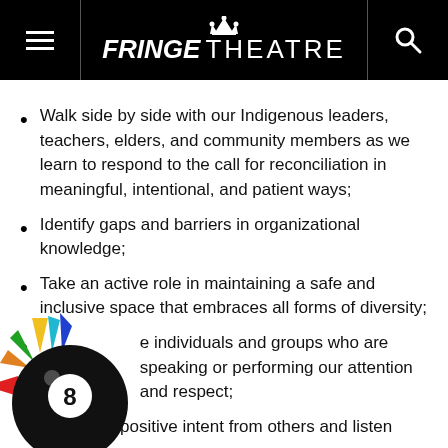FRINGE THEATRE
Walk side by side with our Indigenous leaders, teachers, elders, and community members as we learn to respond to the call for reconciliation in meaningful, intentional, and patient ways;
Identify gaps and barriers in organizational knowledge;
Take an active role in maintaining a safe and inclusive space that embraces all forms of diversity;
Give individuals and groups who are speaking or performing our attention and respect;
Assume a positive intent from others and listen